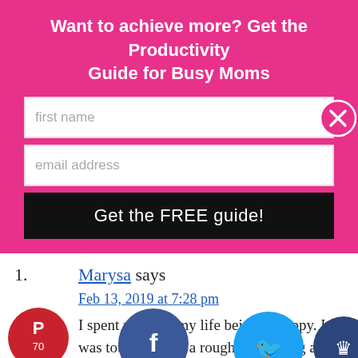Want to achieve more? Get the Productivity Guide for Busy Moms
[Figure (screenshot): Email signup form with first name field, email address field, and a black 'Get the FREE guide!' button on pink background. A close (X) button circle is at the top right.]
1. Marysa says
Feb 13, 2019 at 7:28 pm
I spent much of my life being unhappy. It was tough – i had a rough upbringing and life was always a struggle. Even now that life is easier, happiness doesn't necessarily come naturally. It's something i have to work on! Happiness starts with yourself and how you
[Figure (infographic): Social share buttons at the bottom: Pinterest (red circle, 70 saves), Facebook (blue circle), Twitter (cyan circle), and a dark blue crown circle.]